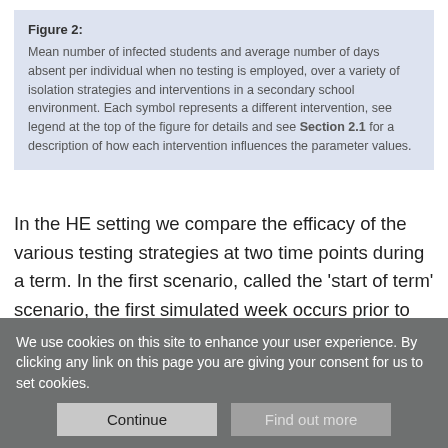Figure 2: Mean number of infected students and average number of days absent per individual when no testing is employed, over a variety of isolation strategies and interventions in a secondary school environment. Each symbol represents a different intervention, see legend at the top of the figure for details and see Section 2.1 for a description of how each intervention influences the parameter values.
In the HE setting we compare the efficacy of the various testing strategies at two time points during a term. In the first scenario, called the 'start of term' scenario, the first simulated week occurs prior to students returning to the Halls of Residence. In this initial week students do not mix, but any infected student will incubate their infection. The next three weeks are simulated under the
We use cookies on this site to enhance your user experience. By clicking any link on this page you are giving your consent for us to set cookies.